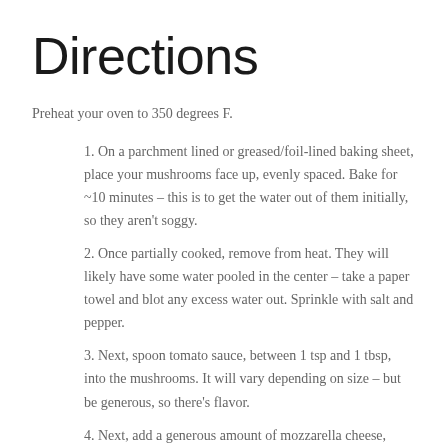Directions
Preheat your oven to 350 degrees F.
1. On a parchment lined or greased/foil-lined baking sheet, place your mushrooms face up, evenly spaced. Bake for ~10 minutes – this is to get the water out of them initially, so they aren't soggy.
2. Once partially cooked, remove from heat. They will likely have some water pooled in the center – take a paper towel and blot any excess water out. Sprinkle with salt and pepper.
3. Next, spoon tomato sauce, between 1 tsp and 1 tbsp, into the mushrooms. It will vary depending on size – but be generous, so there's flavor.
4. Next, add a generous amount of mozzarella cheese, packing into the mushroom if needed. It's alright if some